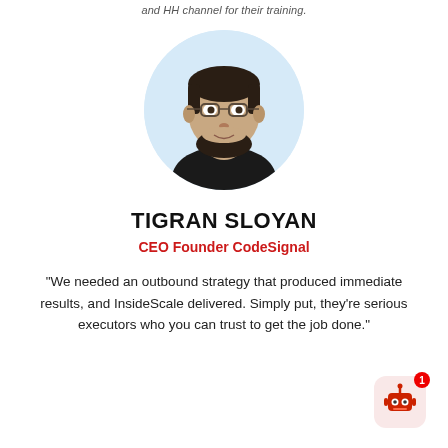and HH channel for their training.
[Figure (photo): Circular headshot photo of Tigran Sloyan, a man with short dark hair, beard, and glasses, wearing a black top, set against a light blue circular background.]
TIGRAN SLOYAN
CEO Founder CodeSignal
“We needed an outbound strategy that produced immediate results, and InsideScale delivered. Simply put, they’re serious executors who you can trust to get the job done.”
[Figure (illustration): Chatbot widget icon: a red robot face on a light pink/red rounded square background, with a red notification badge showing the number 1.]